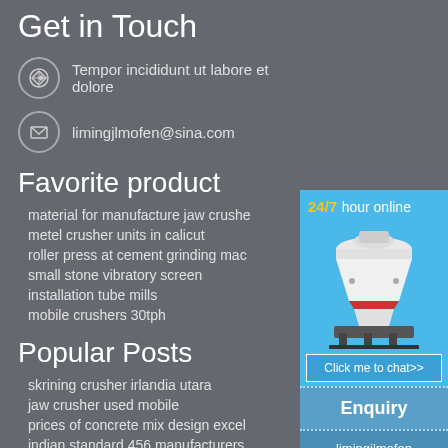Get in Touch
Tempor incididunt ut labore et dolore
limingjlmofen@sina.com
Favorite product
material for manufacture jaw crusher
metel crusher units in calicut
roller press at cement grinding mac
small stone vibratory screen
installation tube mills
mobile crushers 30tph
Popular Posts
skrining crusher irlandia utara
jaw crusher used mobile
prices of concrete mix design excel
indian standard 456 manufacturers
[Figure (illustration): Industrial cone crusher machine, white and red, with 24/7 hour online label and Click me to chat>> button, Enquiry section, limingjlmofen section]
24/7 hour online
Click me to chat>>
Enquiry
limingjlmofen